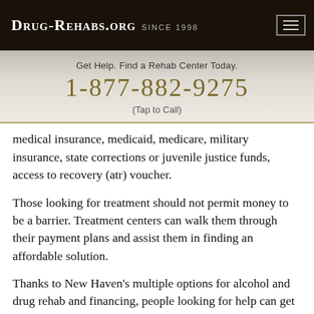DRUG-REHABS.ORG SINCE 1998
Get Help. Find a Rehab Center Today.
1-877-882-9275
(Tap to Call)
medical insurance, medicaid, medicare, military insurance, state corrections or juvenile justice funds, access to recovery (atr) voucher.
Those looking for treatment should not permit money to be a barrier. Treatment centers can walk them through their payment plans and assist them in finding an affordable solution.
Thanks to New Haven's multiple options for alcohol and drug rehab and financing, people looking for help can get a convenient, tailored, and affordable